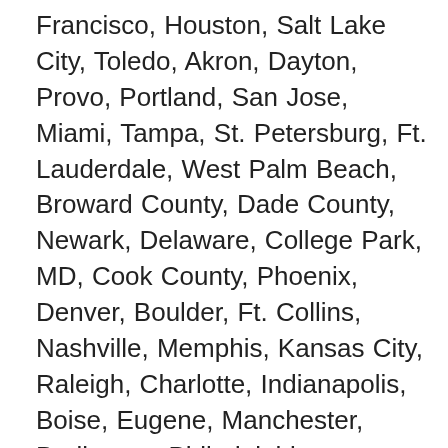Francisco, Houston, Salt Lake City, Toledo, Akron, Dayton, Provo, Portland, San Jose, Miami, Tampa, St. Petersburg, Ft. Lauderdale, West Palm Beach, Broward County, Dade County, Newark, Delaware, College Park, MD, Cook County, Phoenix, Denver, Boulder, Ft. Collins, Nashville, Memphis, Kansas City, Raleigh, Charlotte, Indianapolis, Boise, Eugene, Manchester, Burlington, Philadelphia, Pittsburgh, Pennsylvania, Vermont, Rhode Island, Boca Raton, Arlington, Virginia, Alexandria, Virginia, Reston, McLean, Cambridge, Quincy, Riverside, San Bernadino, Minneapolis, St. Louis, Cleveland, Columbus, Baltimore, Sacramento, Cincinnati, Orlando, Las Vegas, Round Rock, San Marcos, Louisville, Richmond, Tempe, Southbend, Bloomington, Knoxville, Oxford, Tucson, Long Beach, Ames, Ft. Collins